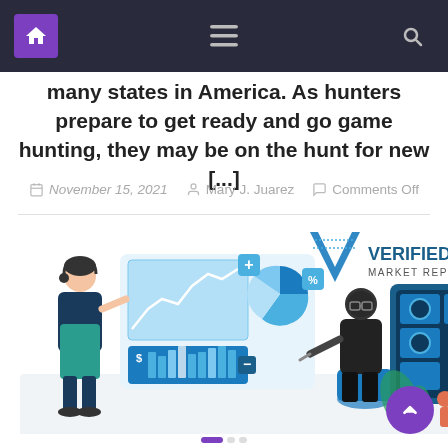Navigation bar with home, menu, and search icons
many states in America. As hunters prepare to get ready and go game hunting, they may be on the hunt for new [...]
November 15, 2021   Mary J. Juarez   Comments Off
[Figure (illustration): Verified Market Reports illustration showing a person presenting charts and graphs on a board to a seated colleague, alongside a data analytics dashboard graphic. Verified Market Reports logo visible in upper right of image.]